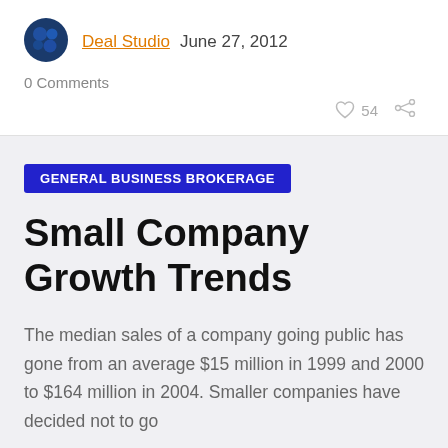[Figure (logo): Deal Studio circular logo with blue bubble shapes]
Deal Studio  June 27, 2012
0 Comments
GENERAL BUSINESS BROKERAGE
Small Company Growth Trends
The median sales of a company going public has gone from an average $15 million in 1999 and 2000 to $164 million in 2004. Smaller companies have decided not to go